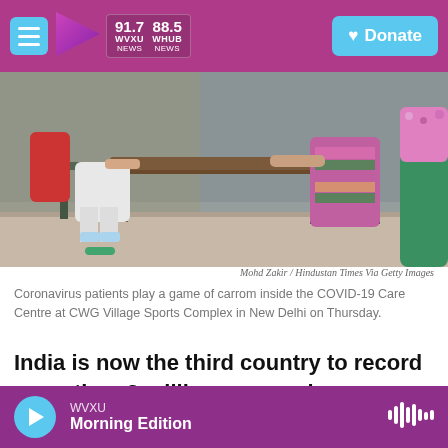WVXU 91.7 NEWS | WHUB 88.5 NEWS | Donate
[Figure (photo): Coronavirus patients play a game of carrom inside the COVID-19 Care Centre at CWG Village Sports Complex in New Delhi. A healthcare worker in white PPE gear sits across a table from patients.]
Mohd Zakir / Hindustan Times Via Getty Images
Coronavirus patients play a game of carrom inside the COVID-19 Care Centre at CWG Village Sports Complex in New Delhi on Thursday.
India is now the third country to record more than 2 million coronavirus cases. The country is
WVXU Morning Edition